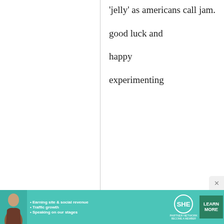'jelly' as americans call jam.

good luck and

happy

experimenting
Teah Petersen
22 July, 2010
- 20:27
permalink
Re: canned jam
Jam, jelly
[Figure (infographic): SHE Partner Network advertisement banner with photo, bullet points about earning site & social revenue, traffic growth, speaking on stages, SHE logo, and LEARN MORE button]